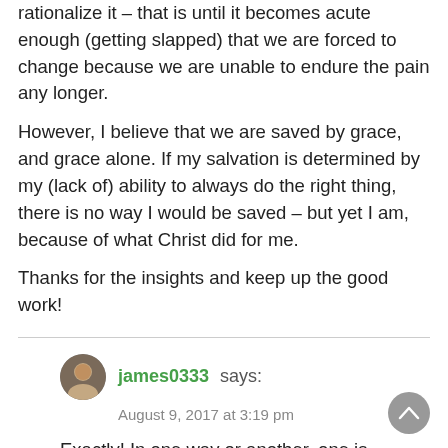rationalize it – that is until it becomes acute enough (getting slapped) that we are forced to change because we are unable to endure the pain any longer.
However, I believe that we are saved by grace, and grace alone. If my salvation is determined by my (lack of) ability to always do the right thing, there is no way I would be saved – but yet I am, because of what Christ did for me.
Thanks for the insights and keep up the good work!
james0333 says:
August 9, 2017 at 3:19 pm
Exactly! In one way or another, one is